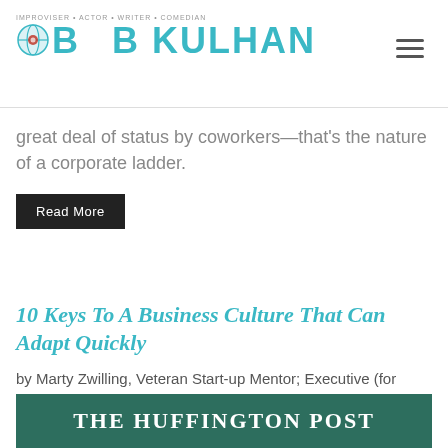BOB KULHAN — Improv • Actor • Writer • Comedian
great deal of status by coworkers—that's the nature of a corporate ladder.
Read More
10 Keys To A Business Culture That Can Adapt Quickly
by Marty Zwilling, Veteran Start-up Mentor; Executive (for Huffington Post)
[Figure (logo): The Huffington Post dark green banner with white serif text reading THE HUFFINGTON POST]